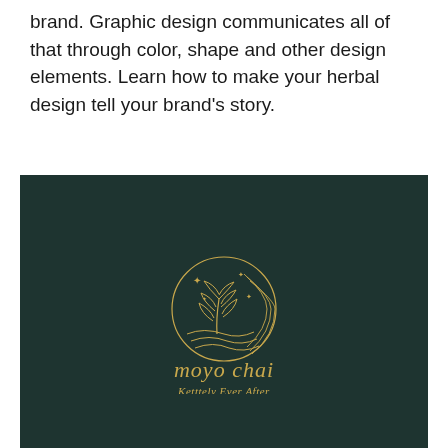brand. Graphic design communicates all of that through color, shape and other design elements. Learn how to make your herbal design tell your brand's story.
[Figure (logo): Moyo Chai brand logo on dark teal background. Features a circular moon/botanical emblem in gold with plant leaves and wave lines inside, below which appears the brand name 'moyo chai' in gold italic serif font, and underneath 'Ketttely Ever After' in gold script.]